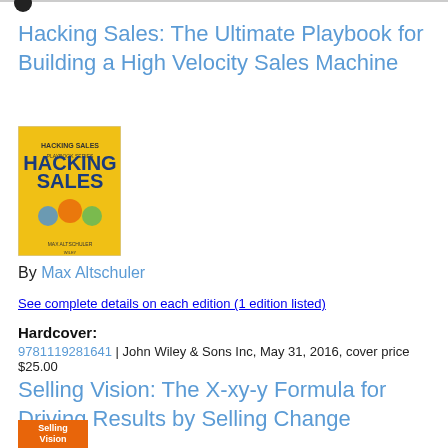Hacking Sales: The Ultimate Playbook for Building a High Velocity Sales Machine
[Figure (photo): Book cover of 'Hacking Sales' with yellow background and robot illustrations]
By Max Altschuler
See complete details on each edition (1 edition listed)
Hardcover:
9781119281641 | John Wiley & Sons Inc, May 31, 2016, cover price $25.00
Selling Vision: The X-xy-y Formula for Driving Results by Selling Change
[Figure (photo): Book cover of 'Selling Vision' with orange background]